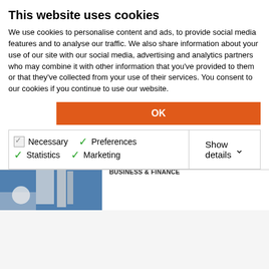This website uses cookies
We use cookies to personalise content and ads, to provide social media features and to analyse our traffic. We also share information about your use of our site with our social media, advertising and analytics partners who may combine it with other information that you've provided to them or that they've collected from your use of their services. You consent to our cookies if you continue to use our website.
OK
Necessary  Preferences  Statistics  Marketing  Show details
5 months ago
BUSINESS DEVELOPMENTS & PROJECTS
Baker Hughes scores order for Plaquemines LNG
5 months ago
BUSINESS & FINANCE